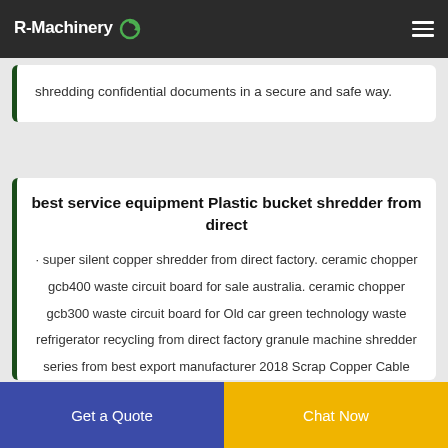R-Machinery
shredding confidential documents in a secure and safe way.
best service equipment Plastic bucket shredder from direct
· super silent copper shredder from direct factory. ceramic chopper gcb400 waste circuit board for sale australia. ceramic chopper gcb300 waste circuit board for Old car green technology waste refrigerator recycling from direct factory granule machine shredder series from best export manufacturer 2018 Scrap Copper Cable Separator and Cable Wire Recycling Machine In China 2018 hot sale single
Get a Quote
Chat Now